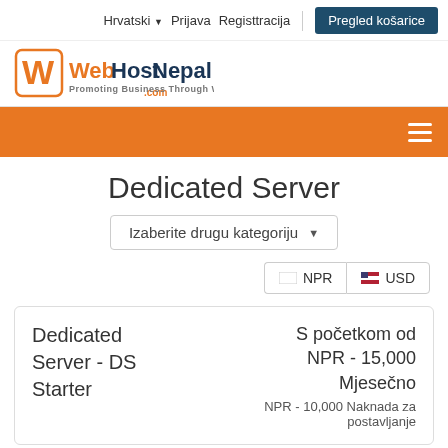Hrvatski  Prijava  Registtracija  Pregled košarice
[Figure (logo): WebHostNepal logo with orange W icon and tagline Promoting Business Through Web .com]
[Figure (infographic): Orange navigation bar with hamburger menu icon]
Dedicated Server
Izaberite drugu kategoriju ▼
NPR  USD
| Product | Pricing |
| --- | --- |
| Dedicated Server - DS Starter | S početkom od NPR - 15,000 Mjesečno
NPR - 10,000 Naknada za postavljanje |